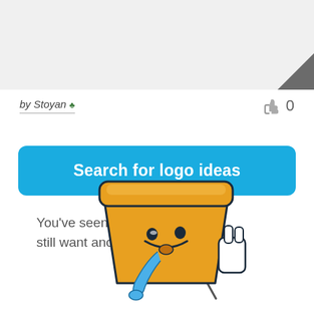[Figure (illustration): Light gray top panel with a dark gray triangle in the bottom-right corner]
by Stoyan ♣  👍 0
Search for logo ideas
You've seen 99designs and you still want another slice?
[Figure (illustration): Cartoon pizza slice character with yellow/orange color, dripping blue paint from its nose, winking, making a hand gesture]